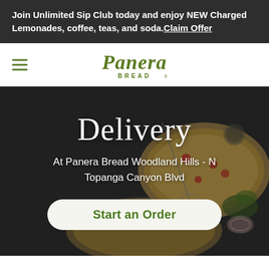Join Unlimited Sip Club today and enjoy NEW Charged Lemonades, coffee, teas, and soda. Claim Offer
[Figure (logo): Panera Bread logo in olive/dark green script with hamburger menu icon on the left]
[Figure (photo): Dark overhead food photo showing flatbread pizzas/flatbreads with toppings including tomatoes, cheese, herbs, onions on a dark background]
Delivery
At Panera Bread Woodland Hills - N Topanga Canyon Blvd
Start an Order